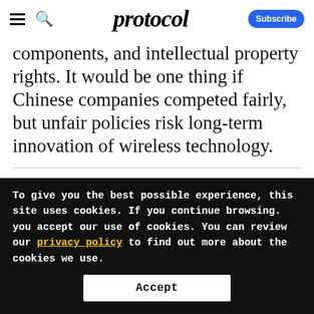protocol
components, and intellectual property rights. It would be one thing if Chinese companies competed fairly, but unfair policies risk long-term innovation of wireless technology.
John Godfrey
To give you the best possible experience, this site uses cookies. If you continue browsing. you accept our use of cookies. You can review our privacy policy to find out more about the cookies we use.
Accept